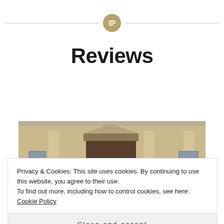[Figure (logo): Circular gold icon with horizontal lines (text/list icon) centered on a horizontal divider line at the top of the page]
Reviews
[Figure (photo): Photograph of a neoclassical stone building with large columns and a central entrance door, with a group of people visible in the foreground at the bottom]
Privacy & Cookies: This site uses cookies. By continuing to use this website, you agree to their use.
To find out more, including how to control cookies, see here: Cookie Policy
Close and accept